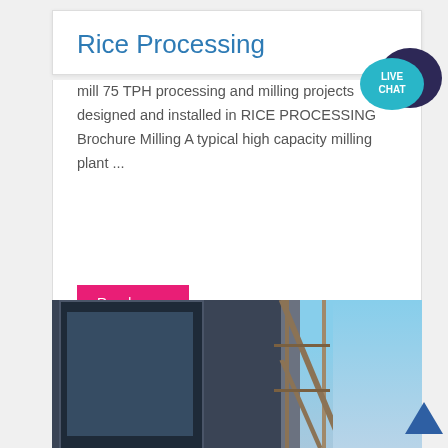Rice Processing
mill 75 TPH processing and milling projects designed and installed in RICE PROCESSING Brochure Milling A typical high capacity milling plant ...
Read more
[Figure (photo): Photograph of a building under construction with scaffolding and blue sky in the background]